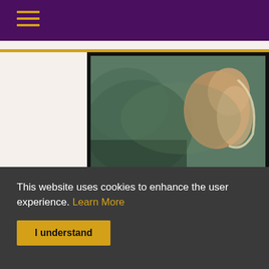≡ (hamburger menu)
[Figure (photo): A music video thumbnail showing a blurred nature/water scene with warm toned subject in the right portion, dark frame border]
Sober – Aquilo
Some songs have moments of complete fluttering peace and provide a much needed calm moment for you and this song is one of those for me. Aquilo brings out fragile yet
This website uses cookies to enhance the user experience. Learn More
I understand